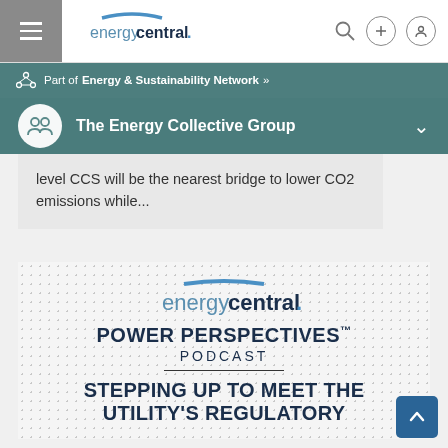[Figure (logo): EnergyCentral logo in top navigation bar]
Part of Energy & Sustainability Network »
The Energy Collective Group
level CCS will be the nearest bridge to lower CO2 emissions while...
[Figure (logo): EnergyCentral Power Perspectives Podcast logo with text: POWER PERSPECTIVES™ PODCAST]
STEPPING UP TO MEET THE UTILITY'S REGULATORY